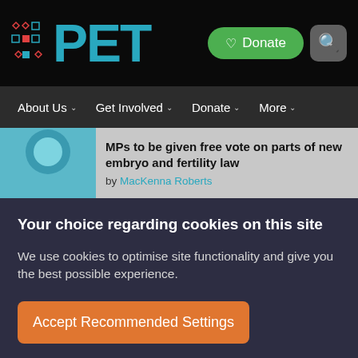PET — logo with Donate and Search buttons
About Us  Get Involved  Donate  More
MPs to be given free vote on parts of new embryo and fertility law by MacKenna Roberts
Your choice regarding cookies on this site
We use cookies to optimise site functionality and give you the best possible experience.
Accept Recommended Settings
Cookie Preferences